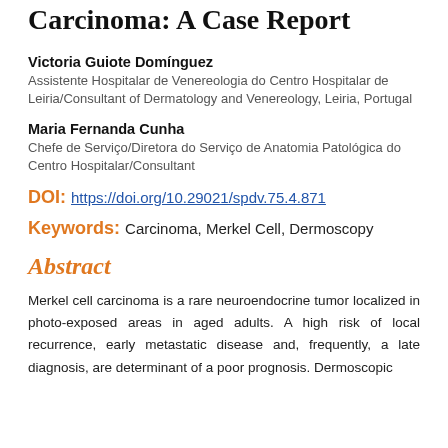Carcinoma: A Case Report
Victoria Guiote Domínguez
Assistente Hospitalar de Venereologia do Centro Hospitalar de Leiria/Consultant of Dermatology and Venereology, Leiria, Portugal
Maria Fernanda Cunha
Chefe de Serviço/Diretora do Serviço de Anatomia Patológica do Centro Hospitalar/Consultant
DOI: https://doi.org/10.29021/spdv.75.4.871
Keywords: Carcinoma, Merkel Cell, Dermoscopy
Abstract
Merkel cell carcinoma is a rare neuroendocrine tumor localized in photo-exposed areas in aged adults. A high risk of local recurrence, early metastatic disease and, frequently, a late diagnosis, are determinant of a poor prognosis. Dermoscopic